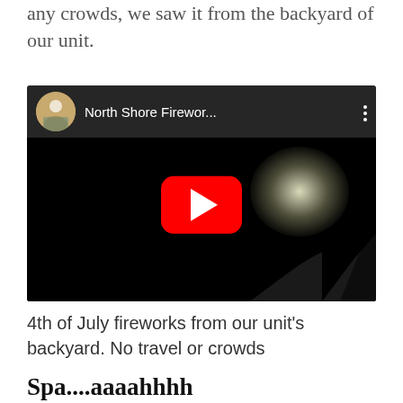any crowds, we saw it from the backyard of our unit.
[Figure (screenshot): YouTube video thumbnail showing a fireworks display at night with trees silhouetted against a bright burst of light. The video title reads 'North Shore Firewor...' with a channel thumbnail on the left and three-dot menu on the right. A red YouTube play button is centered in the frame.]
4th of July fireworks from our unit's backyard. No travel or crowds
Spa....aaaahhhh